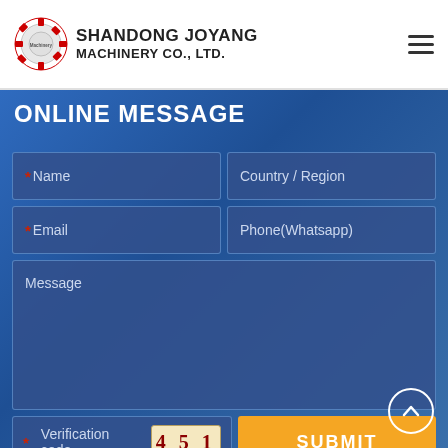[Figure (logo): Joyang Machinery gear logo with company name SHANDONG JOYANG MACHINERY CO., LTD.]
ONLINE MESSAGE
*Name
Country / Region
*Email
Phone(Whatsapp)
Message
*Verification code  4 5 1
SUBMIT